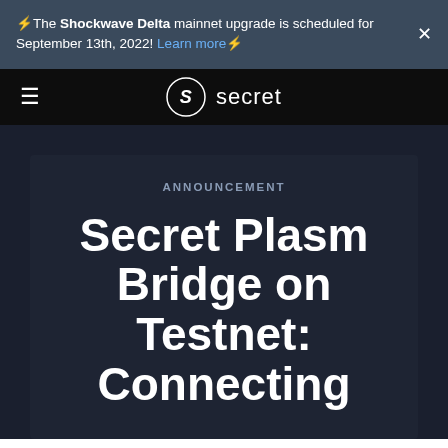⚡️The Shockwave Delta mainnet upgrade is scheduled for September 13th, 2022! Learn more⚡️
[Figure (logo): Secret Network logo with hamburger menu - dark navbar with circle S logo and 'secret' text]
ANNOUNCEMENT
Secret Plasm Bridge on Testnet: Connecting